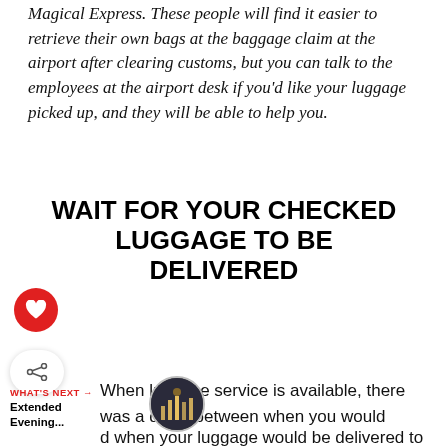Magical Express. These people will find it easier to retrieve their own bags at the baggage claim at the airport after clearing customs, but you can talk to the employees at the airport desk if you'd like your luggage picked up, and they will be able to help you.
WAIT FOR YOUR CHECKED LUGGAGE TO BE DELIVERED
When luggage service is available, there was a delay between when you would arrived and when your luggage would be delivered to your room.